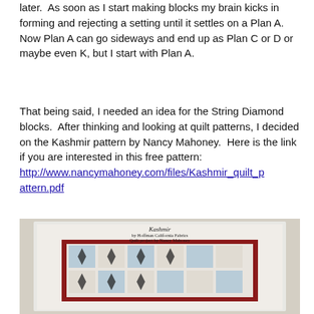later.  As soon as I start making blocks my brain kicks in forming and rejecting a setting until it settles on a Plan A.  Now Plan A can go sideways and end up as Plan C or D or maybe even K, but I start with Plan A.
That being said, I needed an idea for the String Diamond blocks.  After thinking and looking at quilt patterns, I decided on the Kashmir pattern by Nancy Mahoney.  Here is the link if you are interested in this free pattern:  http://www.nancymahoney.com/files/Kashmir_quilt_pattern.pdf
[Figure (photo): Photo of the Kashmir quilt pattern cover showing a quilt with geometric star/diamond blocks in blue, red, black and white, with text 'Kashmir by Hoffman California Fabrics Quilt project by Nancy Mahoney']